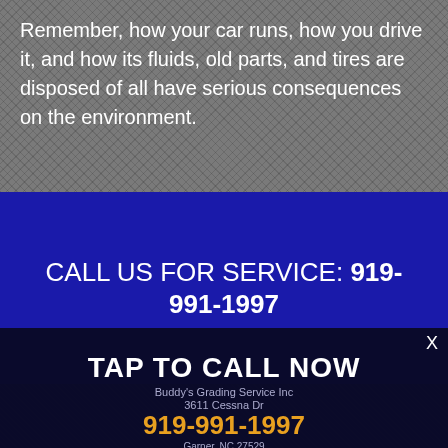Remember, how your car runs, how you drive it, and how its fluids, old parts, and tires are disposed of all have serious consequences on the environment.
CALL US FOR SERVICE: 919-991-1997
TAP TO CALL NOW
Buddy's Grading Service Inc
3611 Cessna Dr
919-991-1997
Garner, NC 27529
919-991-1997
Contact Us